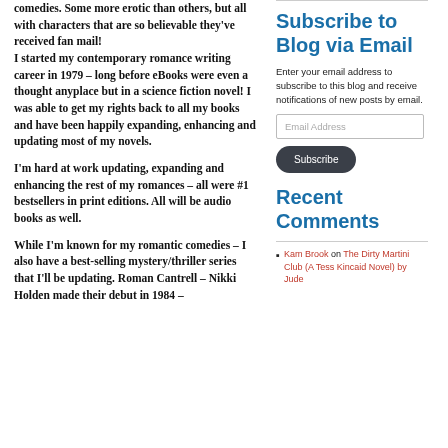comedies. Some more erotic than others, but all with characters that are so believable they've received fan mail! I started my contemporary romance writing career in 1979 – long before eBooks were even a thought anyplace but in a science fiction novel! I was able to get my rights back to all my books and have been happily expanding, enhancing and updating most of my novels.
I'm hard at work updating, expanding and enhancing the rest of my romances – all were #1 bestsellers in print editions. All will be audio books as well.
While I'm known for my romantic comedies – I also have a best-selling mystery/thriller series that I'll be updating. Roman Cantrell – Nikki Holden made their debut in 1984 –
Subscribe to Blog via Email
Enter your email address to subscribe to this blog and receive notifications of new posts by email.
Recent Comments
Kam Brook on The Dirty Martini Club (A Tess Kincaid Novel) by Jude